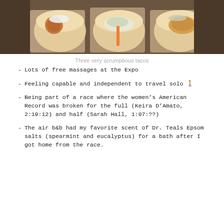[Figure (photo): Three tacos arranged on parchment paper viewed from above, showing various fillings including what appears to be meatball/falafel, slaw, and breaded items]
Three very scrumptious tacos
Lots of free massages at the Expo
Feeling capable and independent to travel solo 🚶
Being part of a race where the women's American Record was broken for the full (Keira D'Amato, 2:19:12) and half (Sarah Hall, 1:07:??)
The air b&b had my favorite scent of Dr. Teals Epsom salts (spearmint and eucalyptus) for a bath after I got home from the race.